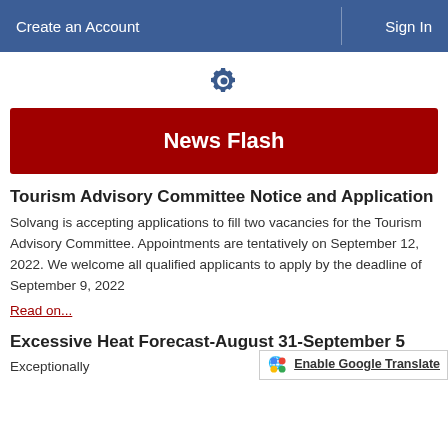Create an Account   Sign In
[Figure (other): Gear/settings icon in dark blue]
News Flash
Tourism Advisory Committee Notice and Application
Solvang is accepting applications to fill two vacancies for the Tourism Advisory Committee. Appointments are tentatively on September 12, 2022. We welcome all qualified applicants to apply by the deadline of September 9, 2022
Read on...
Excessive Heat Forecast-August 31-September 5
Exceptionally
Enable Google Translate